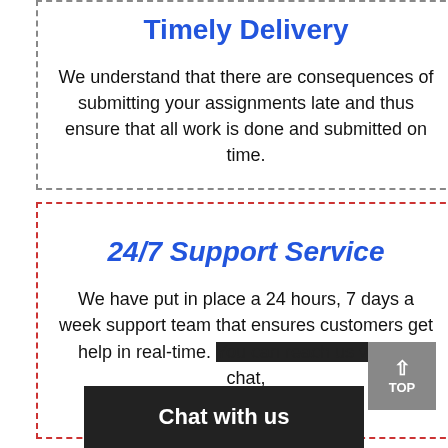Timely Delivery
We understand that there are consequences of submitting your assignments late and thus ensure that all work is done and submitted on time.
24/7 Support Service
We have put in place a 24 hours, 7 days a week support team that ensures customers get help in real-time. You can reach us via live chat,